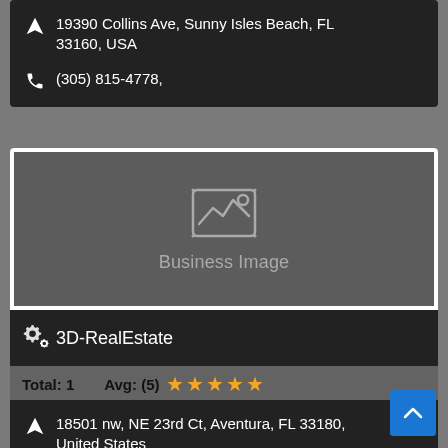19390 Collins Ave, Sunny Isles Beach, FL 33160, USA
(305) 815-4778,
[Figure (photo): Business Image placeholder with image icon]
3D-RealEstate
Total: 1   Avg: (5) ★★★★★
18501 nw, NE 23rd Ct, Aventura, FL 33180, United States
(917) 893-1769,